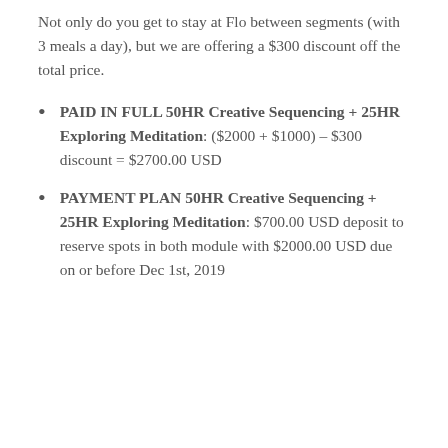Not only do you get to stay at Flo between segments (with 3 meals a day), but we are offering a $300 discount off the total price.
PAID IN FULL 50HR Creative Sequencing + 25HR Exploring Meditation: ($2000 + $1000) – $300 discount = $2700.00 USD
PAYMENT PLAN 50HR Creative Sequencing + 25HR Exploring Meditation: $700.00 USD deposit to reserve spots in both module with $2000.00 USD due on or before Dec 1st, 2019